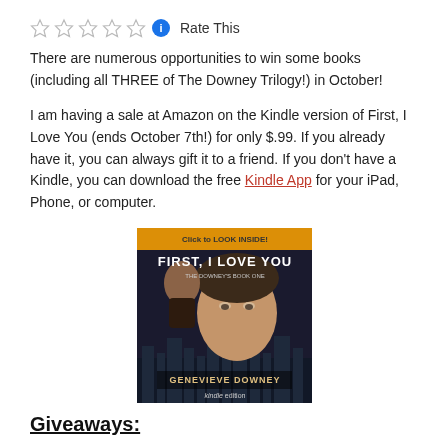☆☆☆☆☆ ℹ Rate This
There are numerous opportunities to win some books (including all THREE of The Downey Trilogy!) in October!
I am having a sale at Amazon on the Kindle version of First, I Love You (ends October 7th!) for only $.99. If you already have it, you can always gift it to a friend. If you don't have a Kindle, you can download the free Kindle App for your iPad, Phone, or computer.
[Figure (photo): Book cover of 'First, I Love You' by Genevieve Downey, Kindle edition, showing a man and woman with a city skyline in the background. 'Click to LOOK INSIDE!' label at top.]
Giveaways: